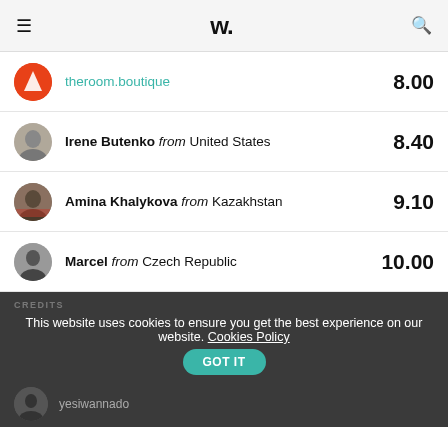W.
theroom.boutique  8.00
Irene Butenko from United States  8.40
Amina Khalykova from Kazakhstan  9.10
Marcel from Czech Republic  10.00
CREDITS
This website uses cookies to ensure you get the best experience on our website. Cookies Policy  GOT IT
yesiwannado